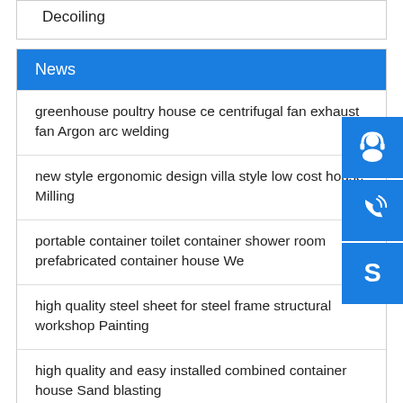Decoiling
News
greenhouse poultry house ce centrifugal fan exhaust fan Argon arc welding
new style ergonomic design villa style low cost house Milling
portable container toilet container shower room prefabricated container house We
high quality steel sheet for steel frame structural workshop Painting
high quality and easy installed combined container house Sand blasting